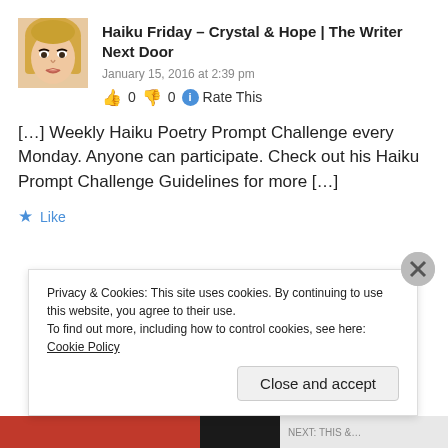[Figure (photo): Avatar photo of a blonde woman with dark eye makeup, small profile picture]
Haiku Friday – Crystal & Hope | The Writer Next Door
January 15, 2016 at 2:39 pm
👍 0 👎 0 ℹ Rate This
[…] Weekly Haiku Poetry Prompt Challenge every Monday. Anyone can participate. Check out his Haiku Prompt Challenge Guidelines for more […]
★ Like
Privacy & Cookies: This site uses cookies. By continuing to use this website, you agree to their use.
To find out more, including how to control cookies, see here: Cookie Policy
Close and accept